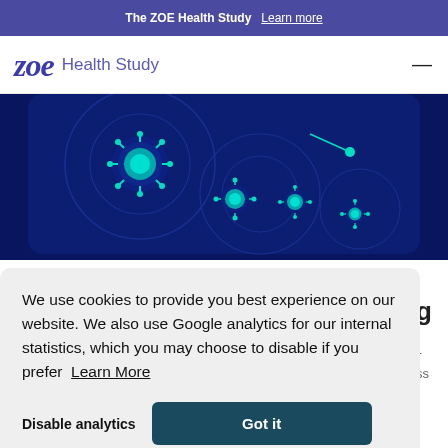The ZOE Health Study  Learn more
zoe Health Study
[Figure (illustration): Dark navy blue background with cyan/teal glowing coronavirus particles and circular radar-like rings, suggesting virus tracking or health monitoring.]
We use cookies to provide you best experience on our website. We also use Google analytics for our internal statistics, which you may choose to disable if you prefer  Learn More
Disable analytics   Got it
of taste or smell needed to trigger a test, research